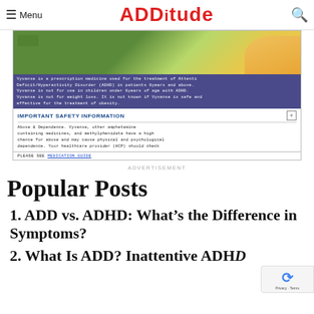≡ Menu  ADDitude  🔍
[Figure (screenshot): Vyvanse advertisement showing child playing, with purple disclaimer text, Important Safety Information section with plus toggle, abuse and dependence warning text, and medication guide link]
ADVERTISEMENT
Popular Posts
1. ADD vs. ADHD: What's the Difference in Symptoms?
2. What Is ADD? Inattentive ADHD…